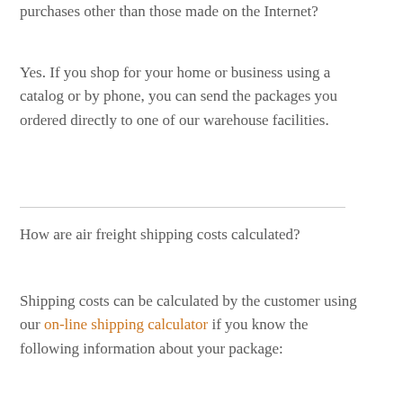purchases other than those made on the Internet?
Yes. If you shop for your home or business using a catalog or by phone, you can send the packages you ordered directly to one of our warehouse facilities.
How are air freight shipping costs calculated?
Shipping costs can be calculated by the customer using our on-line shipping calculator if you know the following information about your package: